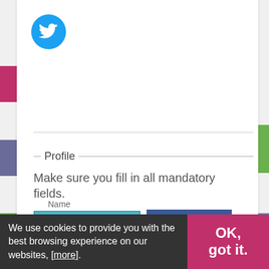[Figure (logo): Twitter bird logo in a cyan/blue circle]
Profile
Make sure you fill in all mandatory fields.
[Figure (screenshot): Sign in with Twitter button (cyan) and Sign in with Facebook button (dark blue)]
or
Comment
Name
We use cookies to provide you with the best browsing experience on our websites, [more].
OK, got it.